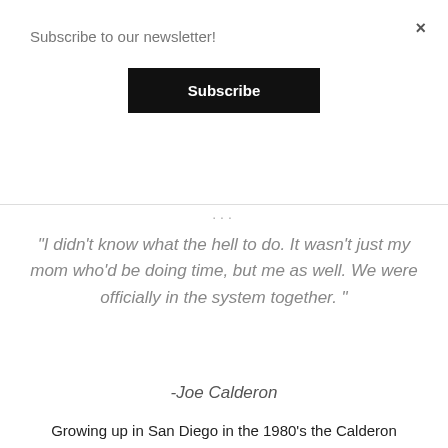×
Subscribe to our newsletter!
Subscribe
...
“I didn’t know what the hell to do.  It wasn’t just my mom who’d be doing time, but me as well.  We were officially in the system together. ”
-Joe Calderon
Growing up in San Diego in the 1980’s the Calderon